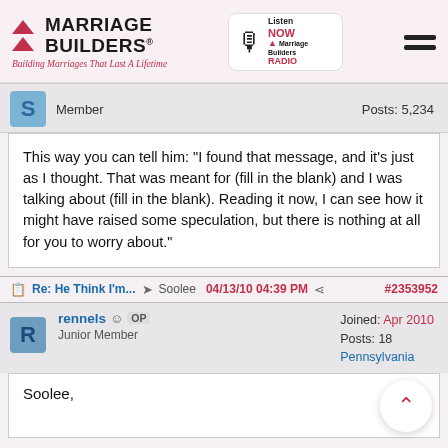[Figure (logo): Marriage Builders logo with red triangles and tagline 'Building Marriages That Last A Lifetime', plus Marriage Builders Radio listen now button and hamburger menu]
Member   Posts: 5,234
This way you can tell him: "I found that message, and it's just as I thought. That was meant for (fill in the blank) and I was talking about (fill in the blank). Reading it now, I can see how it might have raised some speculation, but there is nothing at all for you to worry about."
Re: He Think I'm... → Soolee 04/13/10 04:39 PM < #2353952
rennels OP Junior Member   Joined: Apr 2010 Posts: 18 Pennsylvania
Soolee,